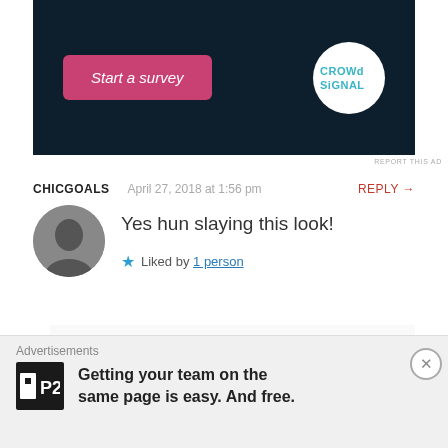[Figure (screenshot): Advertisement banner with dark background showing 'Start a survey' pink button and CrowdSignal logo]
REPORT THIS AD
CHICGOALS   April 27, 2018 at 1:56 pm   REPLY →
Yes hun slaying this look!
★ Liked by 1 person
DIVA NAMED DOM   April 27, 2018 at 6:22 pm   REPLY →
Advertisements
Getting your team on the same page is easy. And free.